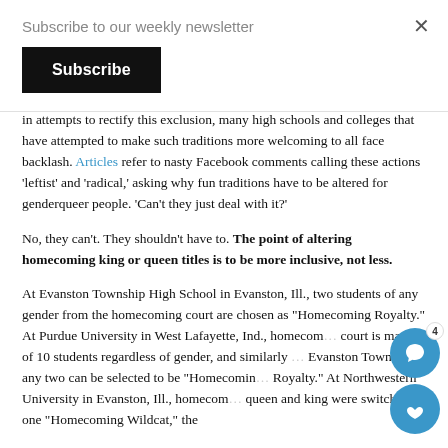Subscribe to our weekly newsletter
In attempts to rectify this exclusion, many high schools and colleges that have attempted to make such traditions more welcoming to all face backlash. Articles refer to nasty Facebook comments calling these actions 'leftist' and 'radical,' asking why fun traditions have to be altered for genderqueer people. 'Can't they just deal with it?'
No, they can't. They shouldn't have to. The point of altering homecoming king or queen titles is to be more inclusive, not less.
At Evanston Township High School in Evanston, Ill., two students of any gender from the homecoming court are chosen as "Homecoming Royalty." At Purdue University in West Lafayette, Ind., homecoming court is made of 10 students regardless of gender, and similarly to Evanston Township, any two can be selected to be "Homecoming Royalty." At Northwestern University in Evanston, Ill., homecoming queen and king were switched to one "Homecoming Wildcat," the